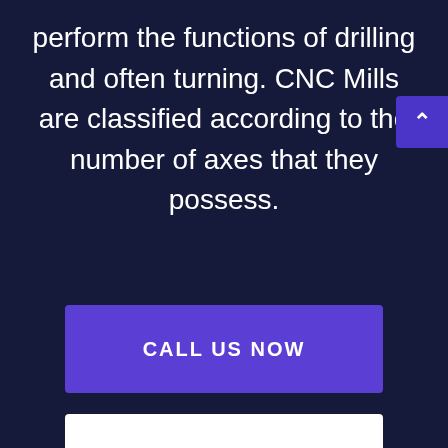perform the functions of drilling and often turning. CNC Mills are classified according to the number of axes that they possess.
CALL US NOW
EMAIL US NOW